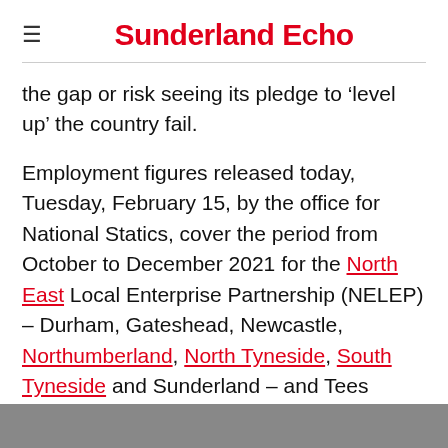Sunderland Echo
the gap or risk seeing its pledge to ‘level up’ the country fail.
Employment figures released today, Tuesday, February 15, by the office for National Statics, cover the period from October to December 2021 for the North East Local Enterprise Partnership (NELEP) – Durham, Gateshead, Newcastle, Northumberland, North Tyneside, South Tyneside and Sunderland – and Tees Valley Combined Authority areas.